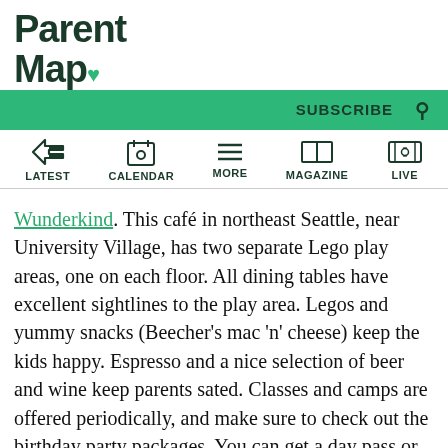ParentMap
SUBSCRIBE
LATEST | CALENDAR | MORE | MAGAZINE | LIVE
Wunderkind. This café in northeast Seattle, near University Village, has two separate Lego play areas, one on each floor. All dining tables have excellent sightlines to the play area. Legos and yummy snacks (Beecher's mac 'n' cheese) keep the kids happy. Espresso and a nice selection of beer and wine keep parents sated. Classes and camps are offered periodically, and make sure to check out the birthday party packages. You can get a day pass or 30-day unlimited pass. Check the Facebook page for